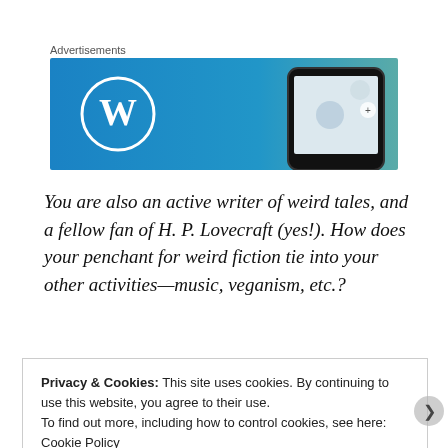Advertisements
[Figure (screenshot): WordPress advertisement banner with blue gradient background, WordPress logo on left and a smartphone on right]
You are also an active writer of weird tales, and a fellow fan of H. P. Lovecraft (yes!). How does your penchant for weird fiction tie into your other activities—music, veganism, etc.?
Privacy & Cookies: This site uses cookies. By continuing to use this website, you agree to their use.
To find out more, including how to control cookies, see here: Cookie Policy
Close and accept